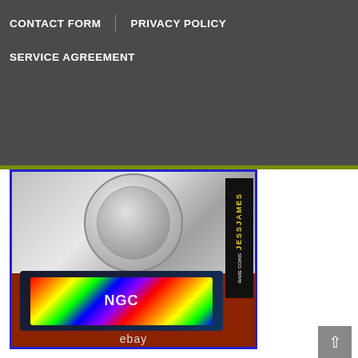CONTACT FORM | PRIVACY POLICY | SERVICE AGREEMENT
[Figure (photo): NGC graded silver eagle coin in slab with holographic label, Jesse James Rare Coins branding, shown against red background with eBay watermark]
View on eBay
SEE MY STORE FOR EVERY YEAR IN MERCANTI SIGNED SILVER EAGLES IN NGC AND PCGS! THIS LISTING IS FOR THE COIN